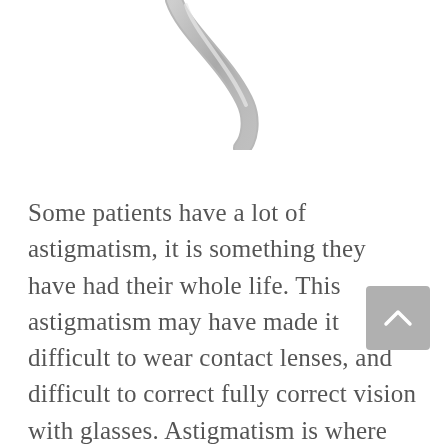[Figure (illustration): Partial view of an eye or contact lens illustration, showing a curved lens or eye shape in grayscale at the top of the page.]
Some patients have a lot of astigmatism, it is something they have had their whole life. This astigmatism may have made it difficult to wear contact lenses, and difficult to correct fully correct vision with glasses. Astigmatism is where the shape of the eye is out of round, more shaped like the American football. Unless astigmatism is corrected,